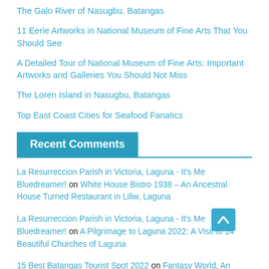The Galo River of Nasugbu, Batangas
11 Eerie Artworks in National Museum of Fine Arts That You Should See
A Detailed Tour of National Museum of Fine Arts: Important Artworks and Galleries You Should Not Miss
The Loren Island in Nasugbu, Batangas
Top East Coast Cities for Seafood Fanatics
Recent Comments
La Resurreccion Parish in Victoria, Laguna - It's Me Bluedreamer! on White House Bistro 1938 – An Ancestral House Turned Restaurant in Liliw, Laguna
La Resurreccion Parish in Victoria, Laguna - It's Me Bluedreamer! on A Pilgrimage to Laguna 2022: A Visit to 14 Beautiful Churches of Laguna
15 Best Batangas Tourist Spot 2022 on Fantasy World, An